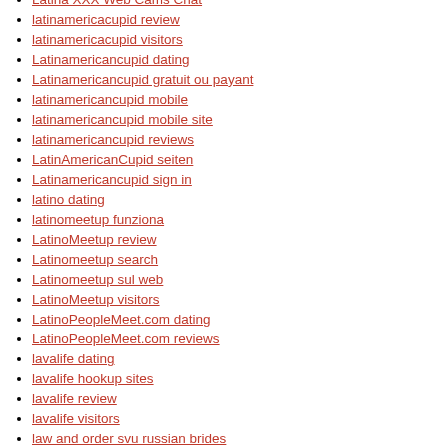Latina XXX Web Cams Chat
latinamericacupid review
latinamericacupid visitors
Latinamericancupid dating
Latinamericancupid gratuit ou payant
latinamericancupid mobile
latinamericancupid mobile site
latinamericancupid reviews
LatinAmericanCupid seiten
Latinamericancupid sign in
latino dating
latinomeetup funziona
LatinoMeetup review
Latinomeetup search
Latinomeetup sul web
LatinoMeetup visitors
LatinoPeopleMeet.com dating
LatinoPeopleMeet.com reviews
lavalife dating
lavalife hookup sites
lavalife review
lavalife visitors
law and order svu russian brides
law essay writing service
Lds Dating login